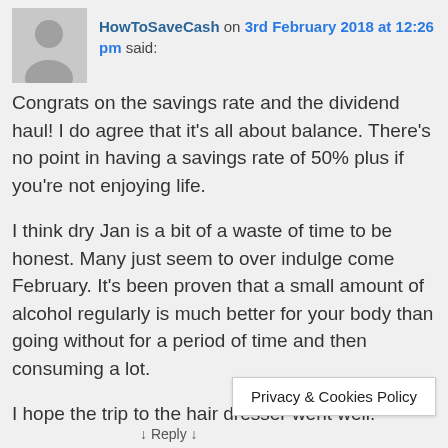[Figure (illustration): Grey placeholder avatar silhouette image]
HowToSaveCash on 3rd February 2018 at 12:26 pm said:
Congrats on the savings rate and the dividend haul! I do agree that it's all about balance. There’s no point in having a savings rate of 50% plus if you’re not enjoying life.
I think dry Jan is a bit of a waste of time to be honest. Many just seem to over indulge come February. It's been proven that a small amount of alcohol regularly is much better for your body than going without for a period of time and then consuming a lot.
I hope the trip to the hair dresser went well.
Privacy & Cookies Policy